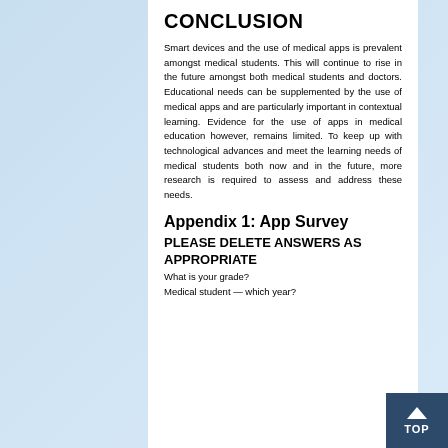CONCLUSION
Smart devices and the use of medical apps is prevalent amongst medical students. This will continue to rise in the future amongst both medical students and doctors. Educational needs can be supplemented by the use of medical apps and are particularly important in contextual learning. Evidence for the use of apps in medical education however, remains limited. To keep up with technological advances and meet the learning needs of medical students both now and in the future, more research is required to assess and address these needs.
Appendix 1: App Survey
PLEASE DELETE ANSWERS AS APPROPRIATE
What is your grade?
Medical student — which year?